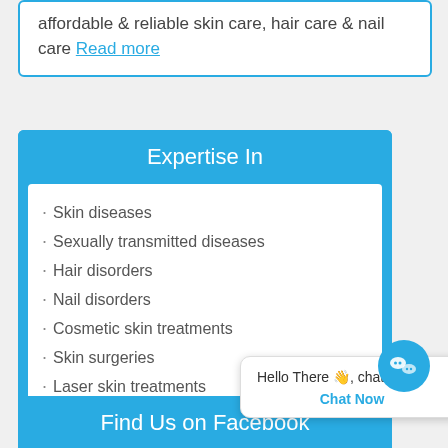affordable & reliable skin care, hair care & nail care Read more
Expertise In
Skin diseases
Sexually transmitted diseases
Hair disorders
Nail disorders
Cosmetic skin treatments
Skin surgeries
Laser skin treatments
[Figure (other): Chat popup widget with text 'Hello There, chat with u' and Chat Now button, with WeChat icon button]
Find Us on Facebook